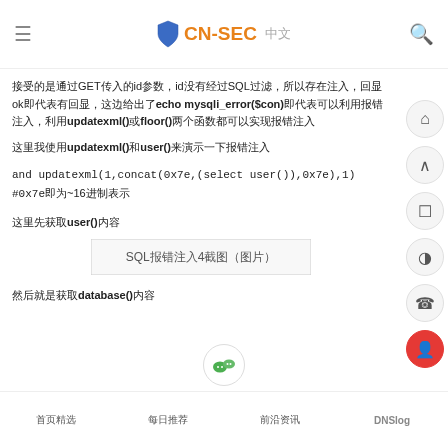CN-SEC 中文
接受的是通过GET传入的id参数，id没有经过SQL过滤，所以存在注入，回显ok即代表有回显，这边给出了echo mysqli_error($con)即代表可以利用报错注入，利用updatexml()或floor()两个函数都可以实现报错注入
这里我使用updatexml()和user()来演示一下报错注入
and updatexml(1,concat(0x7e,(select user()),0x7e),1) #0x7e即为~16进制表示
这里先获取user()内容
[Figure (screenshot): SQL报错注入第4步截图，展示注入结果]
然后就是获取database()内容
首页精选  每日推荐  前沿资讯  DNSlog